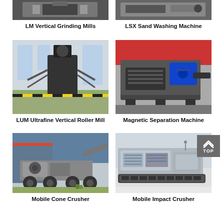[Figure (photo): LM Vertical Grinding Mills machinery photo]
LM Vertical Grinding Mills
[Figure (photo): LSX Sand Washing Machine photo]
LSX Sand Washing Machine
[Figure (photo): LUM Ultrafine Vertical Roller Mill machinery in warehouse]
LUM Ultrafine Vertical Roller Mill
[Figure (photo): Magnetic Separation Machine with blue motor]
Magnetic Separation Machine
[Figure (photo): Mobile Cone Crusher on truck chassis outdoors]
Mobile Cone Crusher
[Figure (photo): Mobile Impact Crusher tracked machine]
Mobile Impact Crusher